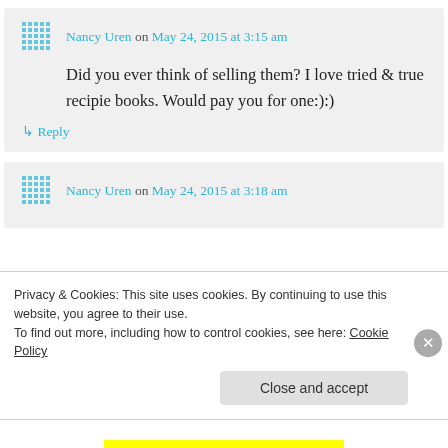Nancy Uren on May 24, 2015 at 3:15 am
Did you ever think of selling them? I love tried & true recipie books. Would pay you for one:):)
↳ Reply
Nancy Uren on May 24, 2015 at 3:18 am
Privacy & Cookies: This site uses cookies. By continuing to use this website, you agree to their use.
To find out more, including how to control cookies, see here: Cookie Policy
Close and accept